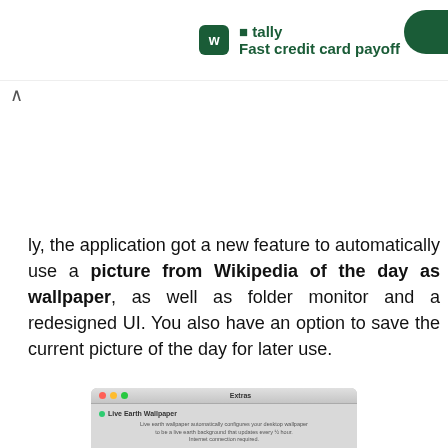[Figure (screenshot): Tally app advertisement banner with green logo icon and text 'Fast credit card payoff']
ly, the application got a new feature to automatically use a picture from Wikipedia of the day as wallpaper, as well as folder monitor and a redesigned UI. You also have an option to save the current picture of the day for later use.
[Figure (screenshot): Screenshot of a macOS application window titled 'Extras' showing Live Earth Wallpaper feature with an earth satellite image and options for Monitor Folder, Picture Of The Day, and Help Us.]